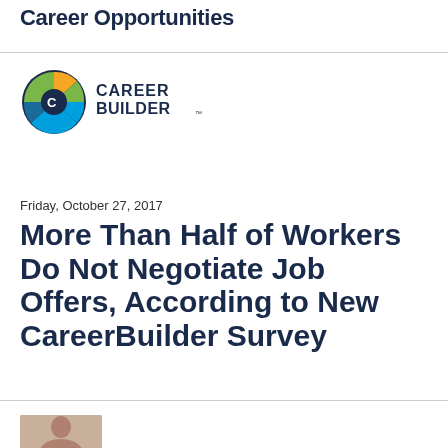Career Opportunities
[Figure (logo): CareerBuilder logo with circular icon and bold text]
Friday, October 27, 2017
More Than Half of Workers Do Not Negotiate Job Offers, According to New CareerBuilder Survey
[Figure (photo): Partial photo of a person at the bottom of the page]